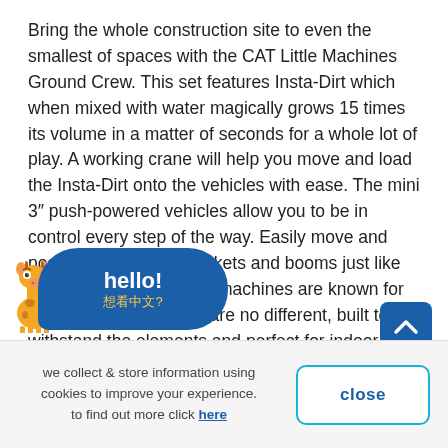Bring the whole construction site to even the smallest of spaces with the CAT Little Machines Ground Crew. This set features Insta-Dirt which when mixed with water magically grows 15 times its volume in a matter of seconds for a whole lot of play. A working crane will help you move and load the Insta-Dirt onto the vehicles with ease. The mini 3" push-powered vehicles allow you to be in control every step of the way. Easily move and pose the articulated buckets and booms just like the real thing. Real CAT machines are known for high quality, these toys are no different, built to withstand the elements and perfect for indoor or outdoor play. Appropriate for ages 3 years and up.
includes
[Figure (illustration): Giraffe cartoon mascot with a blue speech bubble saying 'hello!' and '想看中文?' (Want to see Chinese?)]
[Figure (other): Blue scroll-to-top button with upward chevron arrow]
we collect & store information using cookies to improve your experience. to find out more click here